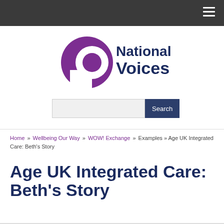National Voices — navigation bar
[Figure (logo): National Voices logo: purple speech-bubble/letter-a icon on the left, with 'National Voices' in dark navy text on the right]
Search
Home » Wellbeing Our Way » WOW! Exchange » Examples » Age UK Integrated Care: Beth's Story
Age UK Integrated Care: Beth's Story